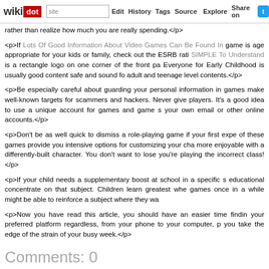wikidot | site Edit History Tags Source Explore Share on Twitter
rather than realize how much you are really spending.</p>
<p>If Lots Of Good Information About Video Games Can Be Found In game is age appropriate for your kids or family, check out the ESRB rati SIMPLE To Understand is a rectangle logo on one corner of the front pa Everyone for Early Childhood is usually good content safe and sound fo adult and teenage level contents.</p>
<p>Be especially careful about guarding your personal information in games make well-known targets for scammers and hackers. Never give players. It's a good idea to use a unique account for games and game s your own email or other online accounts.</p>
<p>Don't be as well quick to dismiss a role-playing game if your first expe of these games provide you intensive options for customizing your cha more enjoyable with a differently-built character. You don't want to lose you're playing the incorrect class!</p>
<p>If your child needs a supplementary boost at school in a specific s educational concentrate on that subject. Children learn greatest whe games once in a while might be able to reinforce a subject where they wa
<p>Now you have read this article, you should have an easier time findin your preferred platform regardless, from your phone to your computer, p you take the edge of the strain of your busy week.</p>
Comments: 0